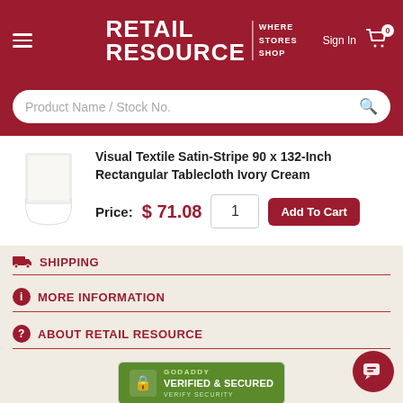RETAIL RESOURCE | WHERE STORES SHOP — Sign In, Cart (0)
Product Name / Stock No.
Visual Textile Satin-Stripe 90 x 132-Inch Rectangular Tablecloth Ivory Cream
Price: $ 71.08 | Qty: 1 | Add To Cart
SHIPPING
MORE INFORMATION
ABOUT RETAIL RESOURCE
[Figure (logo): GoDaddy Verified & Secured badge]
© 1998 - 2022 Retail Resource, LLC All Rights Reserved